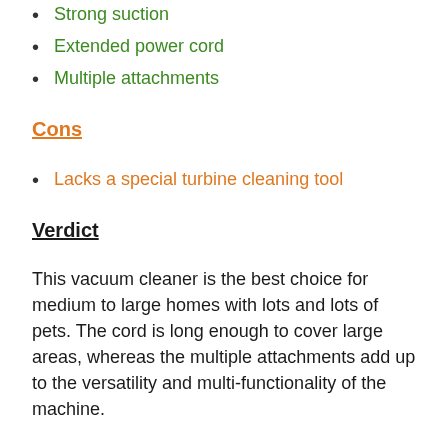Strong suction
Extended power cord
Multiple attachments
Cons
Lacks a special turbine cleaning tool
Verdict
This vacuum cleaner is the best choice for medium to large homes with lots and lots of pets. The cord is long enough to cover large areas, whereas the multiple attachments add up to the versatility and multi-functionality of the machine.